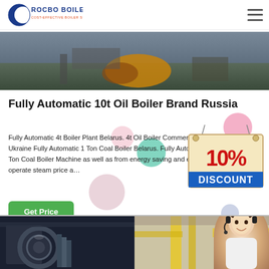[Figure (logo): Rocbo Boiler company logo with crescent moon shape and text 'ROCBO BOILER - COST-EFFECTIVE BOILER SUPPLIER']
[Figure (photo): Industrial boiler equipment photo showing machinery outdoors]
Fully Automatic 10t Oil Boiler Brand Russia
Fully Automatic 4t Boiler Plant Belarus. 4t Oil Boiler Commercial Ukraine Fully Automatic 1 Ton Coal Boiler Belarus. Fully Automatic 1 Ton Coal Boiler Machine as well as from energy saving and easy to operate steam price a…
[Figure (infographic): 10% DISCOUNT promotional badge in red and blue hanging sign style]
[Figure (photo): Industrial boiler machinery in dark setting]
[Figure (photo): Customer service representative with headset smiling, industrial background with yellow crane]